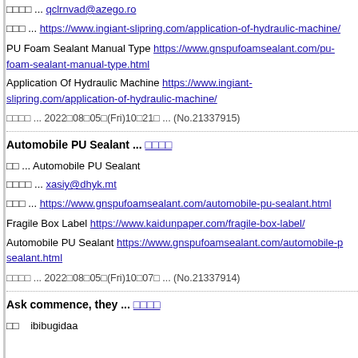□□□□ ... qclrnvad@azego.ro
□□□ ... https://www.ingiant-slipring.com/application-of-hydraulic-machine/
PU Foam Sealant Manual Type https://www.gnspufoamsealant.com/pu-foam-sealant-manual-type.html
Application Of Hydraulic Machine https://www.ingiant-slipring.com/application-of-hydraulic-machine/
□□□□ ... 2022□08□05□(Fri)10□21□ ... (No.21337915)
Automobile PU Sealant ... □□□□
□□ ... Automobile PU Sealant
□□□□ ... xasiy@dhyk.mt
□□□ ... https://www.gnspufoamsealant.com/automobile-pu-sealant.html
Fragile Box Label https://www.kaidunpaper.com/fragile-box-label/
Automobile PU Sealant https://www.gnspufoamsealant.com/automobile-pu-sealant.html
□□□□ ... 2022□08□05□(Fri)10□07□ ... (No.21337914)
Ask commence, they ... □□□□
□□    ibibugidaa